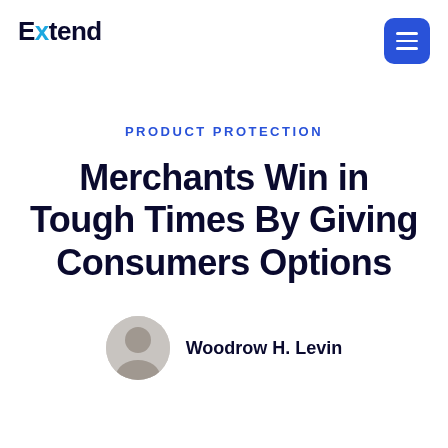Extend
PRODUCT PROTECTION
Merchants Win in Tough Times By Giving Consumers Options
Woodrow H. Levin